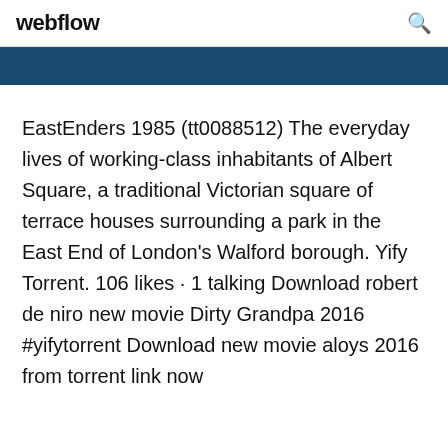webflow
[Figure (other): Dark blue banner bar]
EastEnders 1985 (tt0088512) The everyday lives of working-class inhabitants of Albert Square, a traditional Victorian square of terrace houses surrounding a park in the East End of London's Walford borough. Yify Torrent. 106 likes · 1 talking Download robert de niro new movie Dirty Grandpa 2016 #yifytorrent Download new movie aloys 2016 from torrent link now